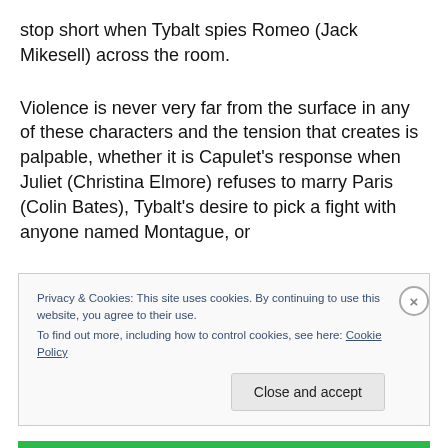stop short when Tybalt spies Romeo (Jack Mikesell) across the room.
Violence is never very far from the surface in any of these characters and the tension that creates is palpable, whether it is Capulet’s response when Juliet (Christina Elmore) refuses to marry Paris (Colin Bates), Tybalt’s desire to pick a fight with anyone named Montague, or
Privacy & Cookies: This site uses cookies. By continuing to use this website, you agree to their use.
To find out more, including how to control cookies, see here: Cookie Policy
Close and accept